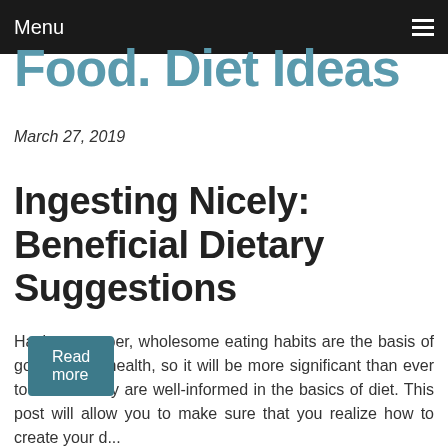Menu
Food. Diet Ideas
March 27, 2019
Ingesting Nicely: Beneficial Dietary Suggestions
Having a proper, wholesome eating habits are the basis of good overall health, so it will be more significant than ever to successfully are well-informed in the basics of diet. This post will allow you to make sure that you realize how to create your d...
Read more